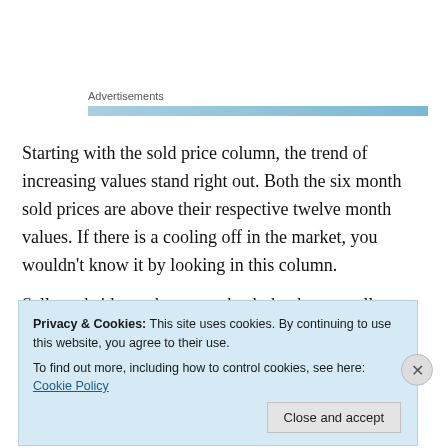Advertisements
Starting with the sold price column, the trend of increasing values stand right out. Both the six month sold prices are above their respective twelve month values. If there is a cooling off in the market, you wouldn't know it by looking in this column.
Seller subsidy made a come back thanks to a seller
Privacy & Cookies: This site uses cookies. By continuing to use this website, you agree to their use.
To find out more, including how to control cookies, see here: Cookie Policy
Close and accept